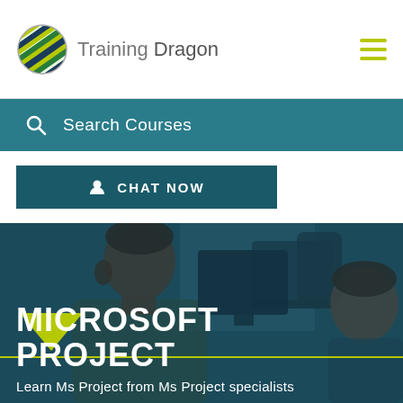Training Dragon
Search Courses
CHAT NOW
[Figure (photo): Students working at computers in a classroom, overlaid with a dark teal color wash]
MICROSOFT PROJECT
Learn Ms Project from Ms Project specialists